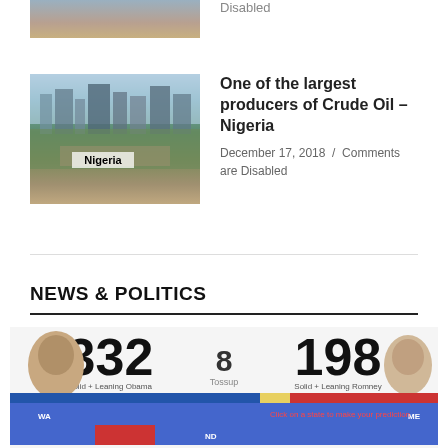[Figure (photo): Partial vehicle photo at top of page]
Disabled
[Figure (photo): Aerial cityscape photo of Nigeria]
One of the largest producers of Crude Oil – Nigeria
December 17, 2018 / Comments are Disabled
NEWS & POLITICS
[Figure (infographic): US Electoral map showing Obama 332, Tossup 8, Romney 198 with state map]